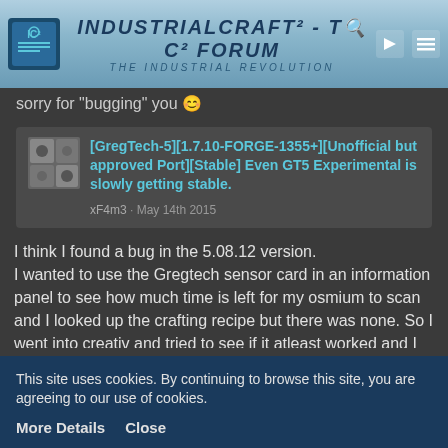IndustrialCraft² - The IC² Forum — The Industrial Revolution
sorry for "bugging" you 😊
[GregTech-5][1.7.10-FORGE-1355+][Unofficial but approved Port][Stable] Even GT5 Experimental is slowly getting stable. xF4m3 · May 14th 2015
I think I found a bug in the 5.08.12 version. I wanted to use the Gregtech sensor card in an information panel to see how much time is left for my osmium to scan and I looked up the crafting recipe but there was none. So I went into creativ and tried to see if it atleast worked and I could then make a recpie with
This site uses cookies. By continuing to browse this site, you are agreeing to our use of cookies.
More Details   Close